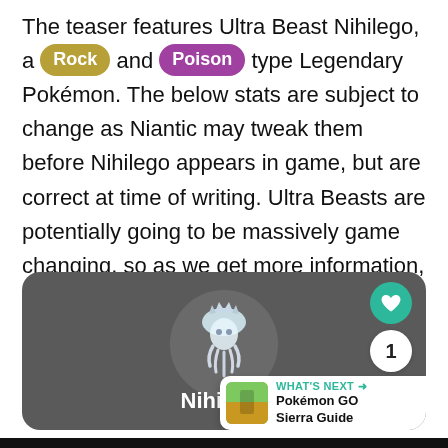The teaser features Ultra Beast Nihilego, a Rock and Poison type Legendary Pokémon. The below stats are subject to change as Niantic may tweak them before Nihilego appears in game, but are correct at time of writing. Ultra Beasts are potentially going to be massively game changing, so as we get more information, we will have full meta analysis for each Ultra Beast in the future.
[Figure (screenshot): Nihilego Pokémon card with grey rounded rectangle background, circular grey avatar showing Nihilego sprite in center, name 'Nihilego' in white bold text at bottom, heart/like button in teal, share button with count '1', and a 'What's Next' bar showing Pokémon GO Sierra Guide.]